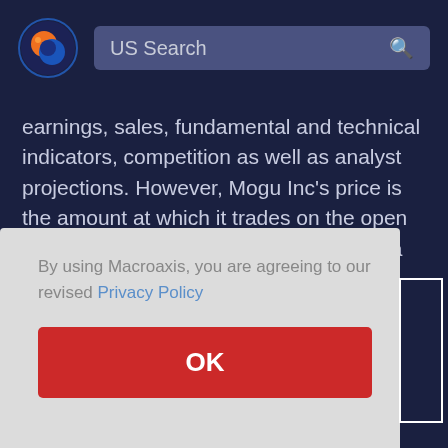US Search
earnings, sales, fundamental and technical indicators, competition as well as analyst projections. However, Mogu Inc's price is the amount at which it trades on the open market and represents the number that a seller and buyer find agreeable to each party.
By using Macroaxis, you are agreeing to our revised Privacy Policy
OK